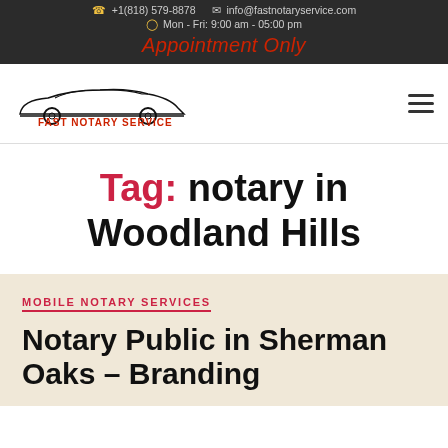+1(818) 579-8878   info@fastnotaryservice.com   Mon - Fri: 9:00 am - 05:00 pm   Appointment Only
[Figure (logo): Fast Notary Service logo with car silhouette outline and red text]
Tag: notary in Woodland Hills
MOBILE NOTARY SERVICES
Notary Public in Sherman Oaks – Branding